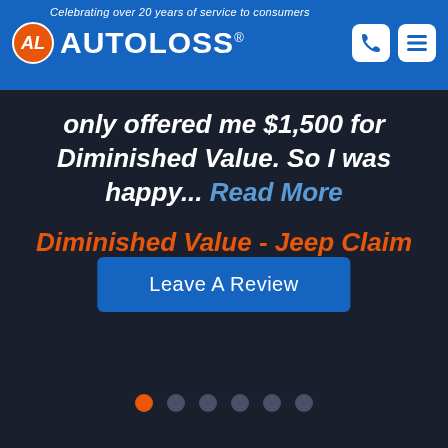Celebrating over 20 years of service to consumers | AUTOLOSS®
only offered me $1,500 for Diminished Value. So I was happy... Read More
Diminished Value - Jeep Claim
Leave A Review